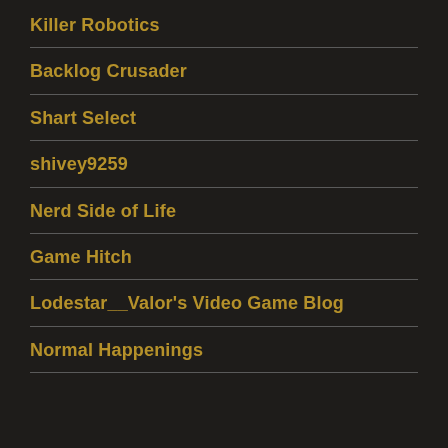Killer Robotics
Backlog Crusader
Shart Select
shivey9259
Nerd Side of Life
Game Hitch
Lodestar__Valor's Video Game Blog
Normal Happenings